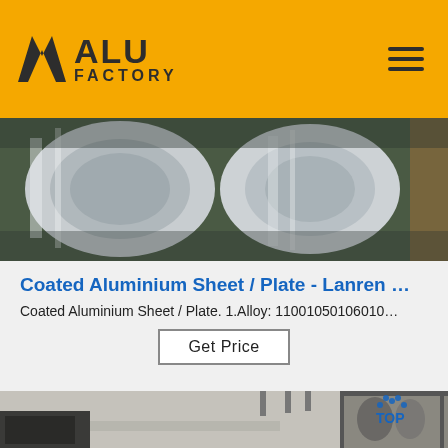[Figure (logo): ALU FACTORY logo with yellow background and hamburger menu icon]
[Figure (photo): Close-up photo of shiny coated aluminium sheet rolls]
Coated Aluminium Sheet / Plate - Lanren …
Coated Aluminium Sheet / Plate. 1.Alloy: 11001050106010…
Get Price
[Figure (photo): Factory interior showing machinery and aluminium roll processing equipment with TOP logo overlay]